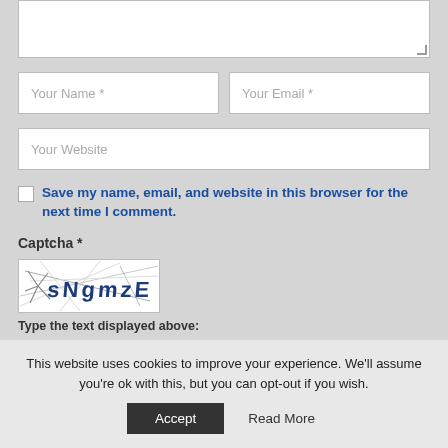[Figure (screenshot): Top portion of a web comment form showing a textarea (partially visible), two input fields (Your Name *, Your Email *), one full-width input (Your Website), a checkbox with label 'Save my name, email, and website in this browser for the next time I comment.', a CAPTCHA section with image and instruction text, all on a gray background.]
Save my name, email, and website in this browser for the next time I comment.
Captcha *
Type the text displayed above:
This website uses cookies to improve your experience. We'll assume you're ok with this, but you can opt-out if you wish.